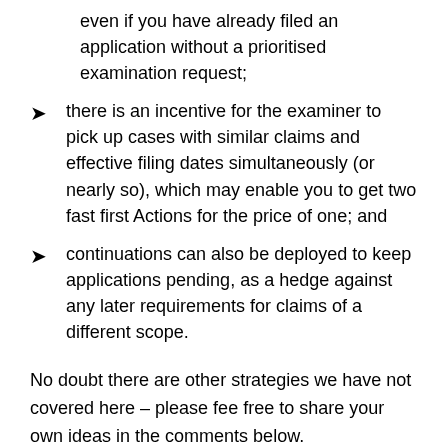even if you have already filed an application without a prioritised examination request;
there is an incentive for the examiner to pick up cases with similar claims and effective filing dates simultaneously (or nearly so), which may enable you to get two fast first Actions for the price of one; and
continuations can also be deployed to keep applications pending, as a hedge against any later requirements for claims of a different scope.
No doubt there are other strategies we have not covered here – please fee free to share your own ideas in the comments below.